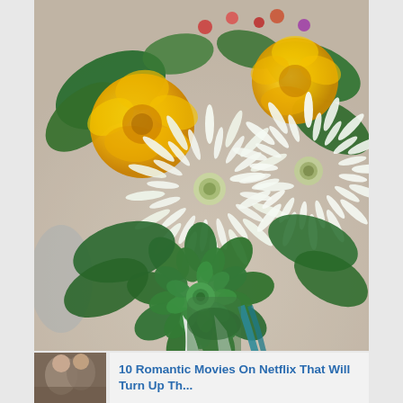[Figure (photo): Close-up photo of a wedding flower bouquet featuring yellow roses, white spider chrysanthemums, green succulents, and assorted greenery. The bouquet is wrapped with white and teal ribbon at the bottom. Background is a blurred beige/taupe surface.]
[Figure (photo): Small thumbnail image showing a romantic couple in an intimate pose, appearing to be about to kiss.]
10 Romantic Movies On Netflix That Will Turn Up Th...